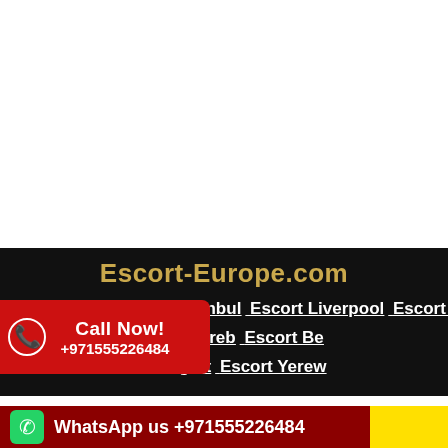Escort-Europe.com
Escort Berlin  Escort Istanbul  Escort Liverpool  Escort Moscow  Escort Salzburg  Escort Zagreb  Escort Belgrade  Escort Barcelona  Escort Stuttgart  Escort Yerevan
Call Now! +971555226484
WhatsApp us +971555226484